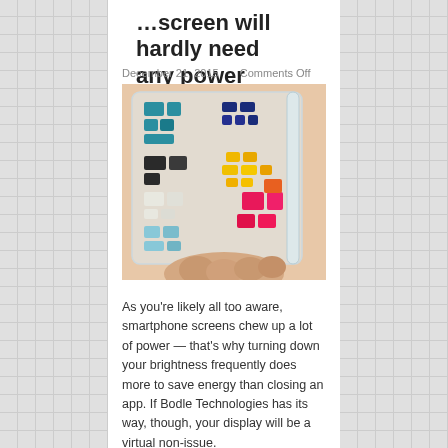Screen will hardly need any power
December 21, 2015   Comments Off
[Figure (photo): A hand holds a transparent sheet displaying colorful square pixel samples in teal, dark blue, black, white, light blue, yellow, orange, and pink/magenta colors — demonstrating e-ink or reflective display color swatches.]
As you're likely all too aware, smartphone screens chew up a lot of power — that's why turning down your brightness frequently does more to save energy than closing an app. If Bodle Technologies has its way, though, your display will be a virtual non-issue.